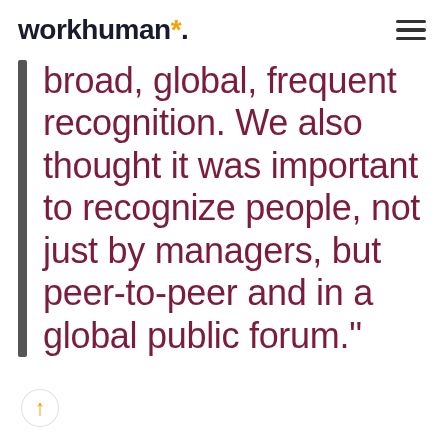workhuman*
broad, global, frequent recognition. We also thought it was important to recognize people, not just by managers, but peer-to-peer and in a global public forum."